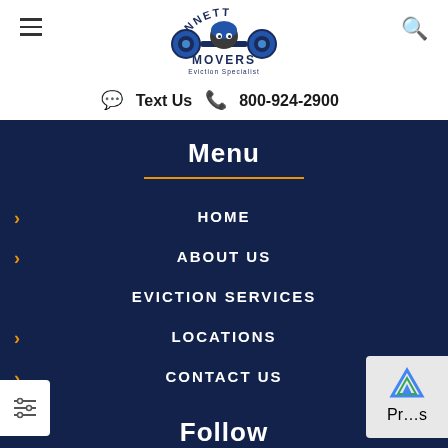[Figure (logo): Bennett Movers Eviction Specialist logo with a dog lifting weights]
Text Us  800-924-2900
Menu
HOME
ABOUT US
EVICTION SERVICES
LOCATIONS
CONTACT US
Follow